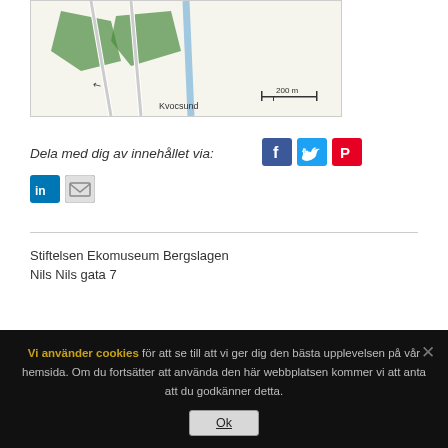[Figure (map): Partial map showing area near Kvocsund with green hatched areas and a scale bar indicating 200m]
Dela med dig av innehållet via:
[Figure (infographic): Social share icons: Facebook, Twitter, Pinterest, LinkedIn, Email]
Stiftelsen Ekomuseum Bergslagen
Nils Nils gata 7
Vi använder cookies för att se till att vi ger dig den bästa upplevelsen på vår hemsida. Om du fortsätter att använda den här webbplatsen kommer vi att anta att du godkänner detta.